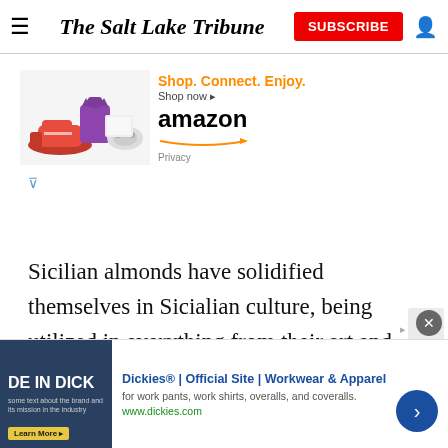The Salt Lake Tribune
[Figure (advertisement): Amazon advertisement: Shop. Connect. Enjoy. Shop now. Amazon logo with Privacy link. Product image showing shoes, bag, and gaming controller.]
Sicilian almonds have solidified themselves in Sicialian culture, being utilized in everything from their art and culture to their traditions and tastes. The sweet and delicious aroma from the almonds is the primary
[Figure (advertisement): Dickies Official Site advertisement: Workwear & Apparel for work pants, work shirts, overalls, and coveralls. www.dickies.com. Blue image with 'DE IN DICK' text visible.]